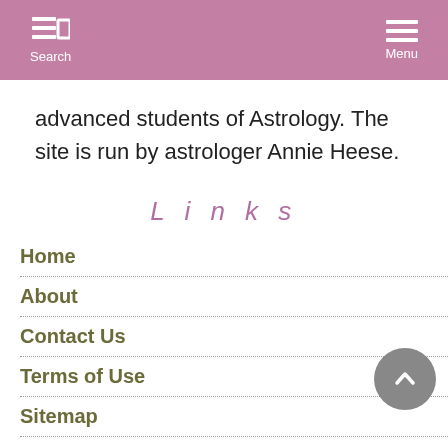Search  Menu
advanced students of Astrology. The site is run by astrologer Annie Heese.
L i n k s
Home
About
Contact Us
Terms of Use
Sitemap
Site News
Search